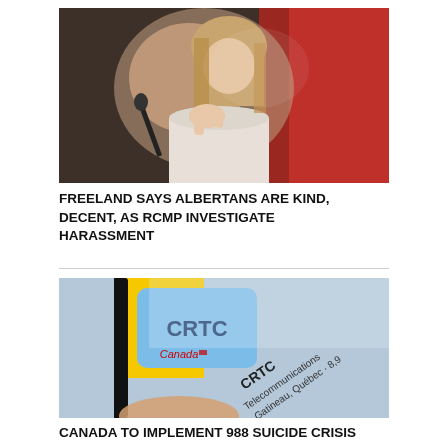[Figure (photo): Woman speaking at a microphone at a podium, with a red background to the right. She has long blonde hair and is wearing a white blazer, gesturing with her right hand.]
FREELAND SAYS ALBERTANS ARE KIND, DECENT, AS RCMP INVESTIGATE HARASSMENT
[Figure (photo): Close-up of a smartphone screen showing the CRTC (Canadian Radio-television and Telecommunications Commission) logo with the Canada wordmark, with text reading 'CRTC Telecommunications Gatineau, Québec · 8,9' partially visible.]
CANADA TO IMPLEMENT 988 SUICIDE CRISIS